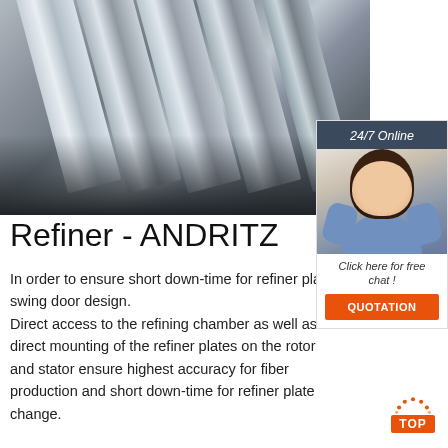[Figure (photo): Close-up photo of multiple flat metal/steel bars or plates arranged in parallel, shot from above at an angle on a dark background. Industrial/manufacturing context.]
[Figure (photo): Online customer service representative (woman with headset) with '24/7 Online' header, 'Click here for free chat!' text, and orange QUOTATION button.]
Refiner - ANDRITZ
In order to ensure short down-time for refiner plate change, ANDRITZ single-disc refiners are equipped with the unique swing door design. Direct access to the refining chamber as well as direct mounting of the refiner plates on the rotor and stator ensure highest accuracy for fiber production and short down-time for refiner plate change.
[Figure (logo): Orange 'TOP' button with decorative dots arranged in an arc above the word TOP in white on orange background.]